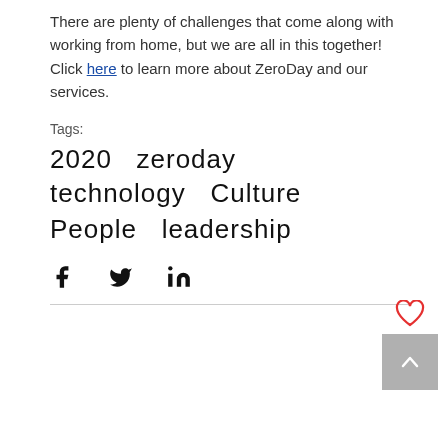There are plenty of challenges that come along with working from home, but we are all in this together! Click here to learn more about ZeroDay and our services.
Tags:
2020   zeroday   technology   Culture
People   leadership
[Figure (infographic): Social share icons: Facebook (f), Twitter bird, LinkedIn (in)]
[Figure (infographic): Heart icon (red outline) above a gray back-to-top button with a white upward chevron arrow]